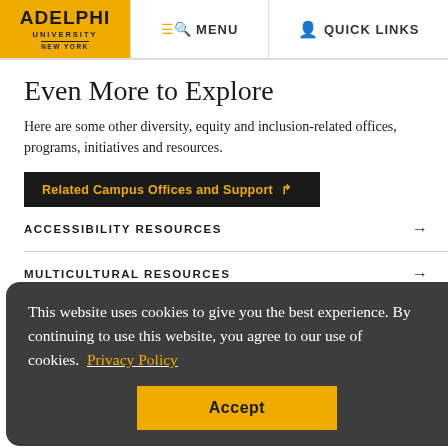[Figure (logo): Adelphi University New York logo on yellow/gold background]
MENU  QUICK LINKS
Even More to Explore
Here are some other diversity, equity and inclusion-related offices, programs, initiatives and resources.
Related Campus Offices and Support
ACCESSIBILITY RESOURCES →
MULTICULTURAL RESOURCES →
VETERAN RESOURCES →
This website uses cookies to give you the best experience. By continuing to use this website, you agree to our use of cookies.  Privacy Policy
Accept